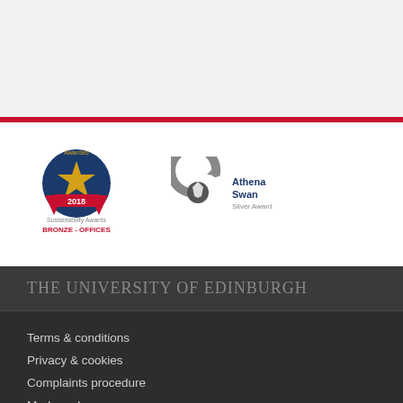[Figure (logo): Sustainability Awards 2018 Bronze - Offices badge logo]
[Figure (logo): Athena Swan Silver Award logo with circular arrow design]
THE UNIVERSITY OF EDINBURGH
Terms & conditions
Privacy & cookies
Complaints procedure
Modern slavery
Website accessibility
Freedom of information publication scheme
Data Protection